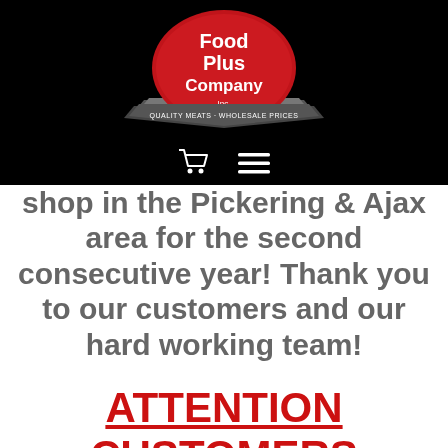[Figure (logo): Food Plus Company Inc. logo — red oval with white text 'Food Plus Company Inc.' and a ribbon banner below reading 'QUALITY MEATS · WHOLESALE PRICES']
shop in the Pickering & Ajax area for the second consecutive year! Thank you to our customers and our hard working team!
ATTENTION CUSTOMERS
We will be CLOSED for the